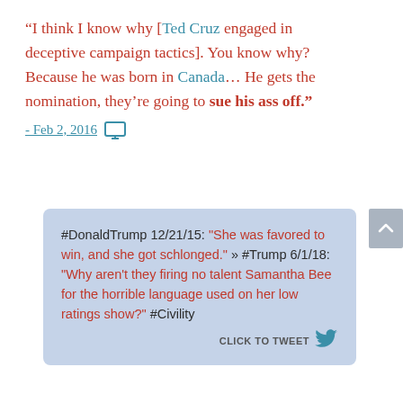“I think I know why [Ted Cruz engaged in deceptive campaign tactics]. You know why? Because he was born in Canada… He gets the nomination, they’re going to sue his ass off.”
- Feb 2, 2016
#DonaldTrump 12/21/15: "She was favored to win, and she got schlonged." » #Trump 6/1/18: "Why aren’t they firing no talent Samantha Bee for the horrible language used on her low ratings show?" #Civility